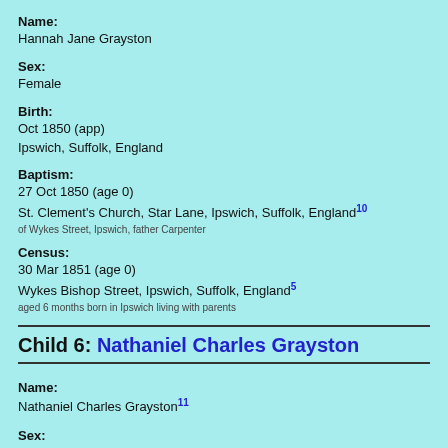Name:
Hannah Jane Grayston
Sex:
Female
Birth:
Oct 1850 (app)
Ipswich, Suffolk, England
Baptism:
27 Oct 1850 (age 0)
St. Clement's Church, Star Lane, Ipswich, Suffolk, England[10]
of Wykes Street, Ipswich, father Carpenter
Census:
30 Mar 1851 (age 0)
Wykes Bishop Street, Ipswich, Suffolk, England[5]
aged 6 months born in Ipswich living with parents
Child 6: Nathaniel Charles Grayston
Name:
Nathaniel Charles Grayston[11]
Sex:
Male
S